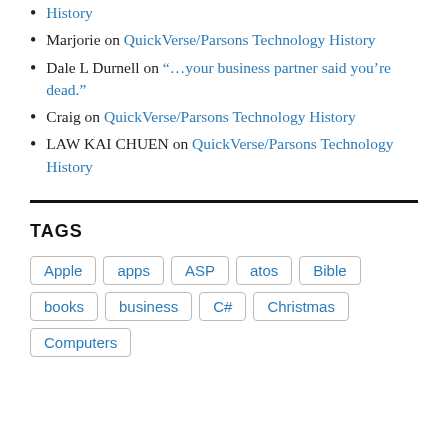Marjorie on QuickVerse/Parsons Technology History
Dale L Durnell on “…your business partner said you’re dead.”
Craig on QuickVerse/Parsons Technology History
LAW KAI CHUEN on QuickVerse/Parsons Technology History
TAGS
Apple  apps  ASP  atos  Bible  books  business  C#  Christmas  Computers